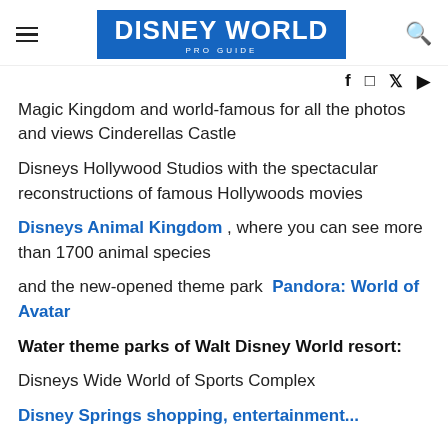DISNEY WORLD PRO GUIDE
Magic Kingdom and world-famous for all the photos and views Cinderellas Castle
Disneys Hollywood Studios with the spectacular reconstructions of famous Hollywoods movies
Disneys Animal Kingdom , where you can see more than 1700 animal species
and the new-opened theme park  Pandora: World of Avatar
Water theme parks of Walt Disney World resort:
Disneys Wide World of Sports Complex
Disney Springs shopping, entertainment...